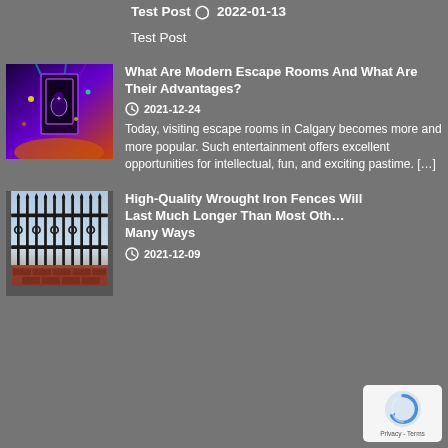Test Post ⊙  2022-01-13
Test Post
[Figure (photo): Colorful escape room themed artwork with neon lights, purple and orange tones, featuring animated characters]
What Are Modern Escape Rooms And What Are Their Advantages?
⊙  2021-12-24
Today, visiting escape rooms in Calgary becomes more and more popular. Such entertainment offers excellent opportunities for intellectual, fun, and exciting pastime. […]
[Figure (photo): Wrought iron fence/gate with ornamental ironwork, brick base, outdoor setting]
High-Quality Wrought Iron Fences Will Last Much Longer Than Most Oth… Many Ways
⊙  2021-12-09